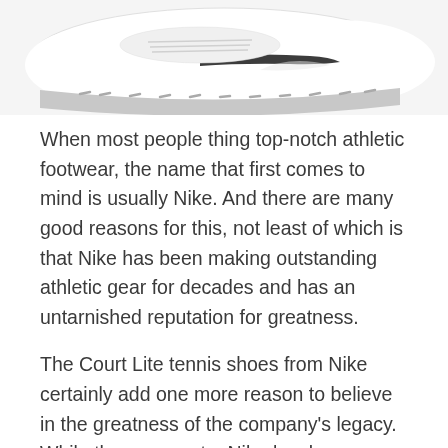[Figure (photo): Partial view of a white Nike Court Lite tennis shoe from above, showing the toe box and sole, with gray accents and swoosh visible.]
When most people thing top-notch athletic footwear, the name that first comes to mind is usually Nike. And there are many good reasons for this, not least of which is that Nike has been making outstanding athletic gear for decades and has an untarnished reputation for greatness.
The Court Lite tennis shoes from Nike certainly add one more reason to believe in the greatness of the company's legacy. While they come at a Nike-level